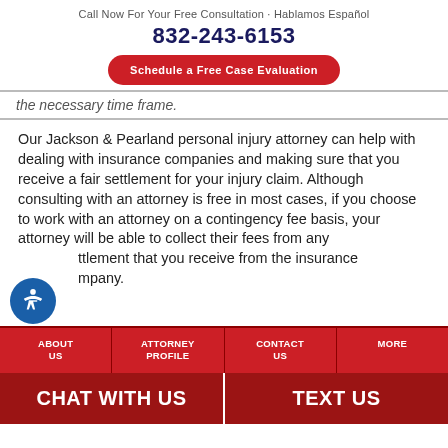Call Now For Your Free Consultation · Hablamos Español
832-243-6153
Schedule a Free Case Evaluation
the necessary time frame.
Our Jackson & Pearland personal injury attorney can help with dealing with insurance companies and making sure that you receive a fair settlement for your injury claim. Although consulting with an attorney is free in most cases, if you choose to work with an attorney on a contingency fee basis, your attorney will be able to collect their fees from any settlement that you receive from the insurance company.
ABOUT US | ATTORNEY PROFILE | CONTACT US | MORE
CHAT WITH US | TEXT US